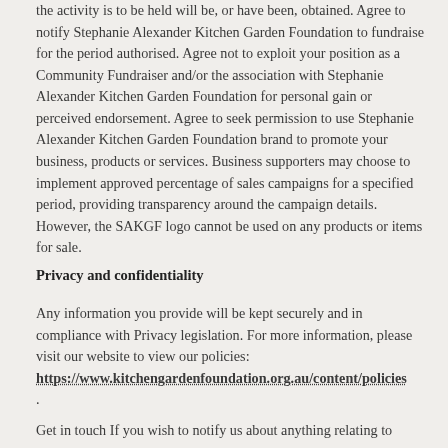the activity is to be held will be, or have been, obtained. Agree to notify Stephanie Alexander Kitchen Garden Foundation to fundraise for the period authorised. Agree not to exploit your position as a Community Fundraiser and/or the association with Stephanie Alexander Kitchen Garden Foundation for personal gain or perceived endorsement. Agree to seek permission to use Stephanie Alexander Kitchen Garden Foundation brand to promote your business, products or services. Business supporters may choose to implement approved percentage of sales campaigns for a specified period, providing transparency around the campaign details. However, the SAKGF logo cannot be used on any products or items for sale.
Privacy and confidentiality
Any information you provide will be kept securely and in compliance with Privacy legislation. For more information, please visit our website to view our policies: https://www.kitchengardenfoundation.org.au/content/policies .
Get in touch If you wish to notify us about anything relating to